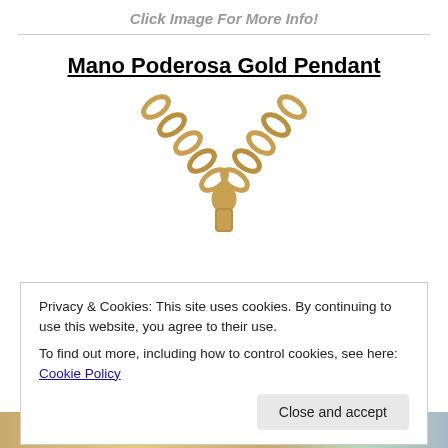Click Image For More Info!
Mano Poderosa Gold Pendant
[Figure (photo): Gold chain necklace with V-shape forming pendant connector, showing gold chain links converging to a central clasp/pendant piece]
Privacy & Cookies: This site uses cookies. By continuing to use this website, you agree to their use.
To find out more, including how to control cookies, see here: Cookie Policy
Close and accept